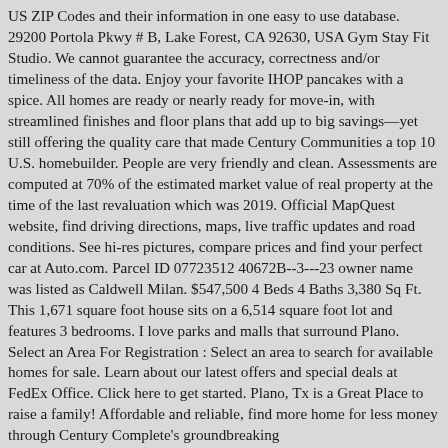US ZIP Codes and their information in one easy to use database. 29200 Portola Pkwy # B, Lake Forest, CA 92630, USA Gym Stay Fit Studio. We cannot guarantee the accuracy, correctness and/or timeliness of the data. Enjoy your favorite IHOP pancakes with a spice. All homes are ready or nearly ready for move-in, with streamlined finishes and floor plans that add up to big savings—yet still offering the quality care that made Century Communities a top 10 U.S. homebuilder. People are very friendly and clean. Assessments are computed at 70% of the estimated market value of real property at the time of the last revaluation which was 2019. Official MapQuest website, find driving directions, maps, live traffic updates and road conditions. See hi-res pictures, compare prices and find your perfect car at Auto.com. Parcel ID 07723512 40672B--3---23 owner name was listed as Caldwell Milan. $547,500 4 Beds 4 Baths 3,380 Sq Ft. This 1,671 square foot house sits on a 6,514 square foot lot and features 3 bedrooms. I love parks and malls that surround Plano. Select an Area For Registration : Select an area to search for available homes for sale. Learn about our latest offers and special deals at FedEx Office. Click here to get started. Plano, Tx is a Great Place to raise a family! Affordable and reliable, find more home for less money through Century Complete's groundbreaking